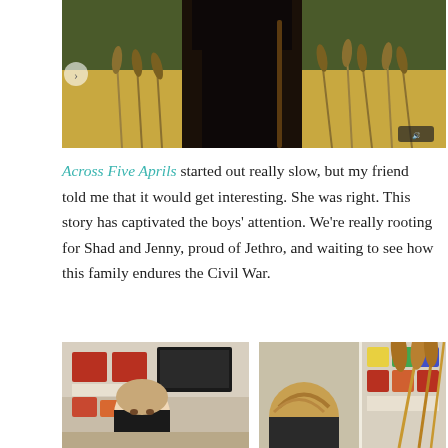[Figure (photo): Book cover or illustration for Across Five Aprils showing a dark figure in a wheat field with golden grass in the background]
Across Five Aprils started out really slow, but my friend told me that it would get interesting. She was right. This story has captivated the boys' attention. We're really rooting for Shad and Jenny, proud of Jethro, and waiting to see how this family endures the Civil War.
[Figure (photo): A boy in a black shirt sitting at a desk in a classroom with red storage bins and a laptop in the background]
[Figure (photo): A student in a classroom with colorful storage bins and bookshelves, with wheat stalks visible in the foreground]